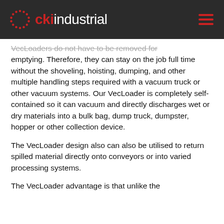cki industrial
VecLoaders do not have to be removed for emptying. Therefore, they can stay on the job full time without the shoveling, hoisting, dumping, and other multiple handling steps required with a vacuum truck or other vacuum systems. Our VecLoader is completely self-contained so it can vacuum and directly discharges wet or dry materials into a bulk bag, dump truck, dumpster, hopper or other collection device.
The VecLoader design also can also be utilised to return spilled material directly onto conveyors or into varied processing systems.
The VecLoader advantage is that unlike the